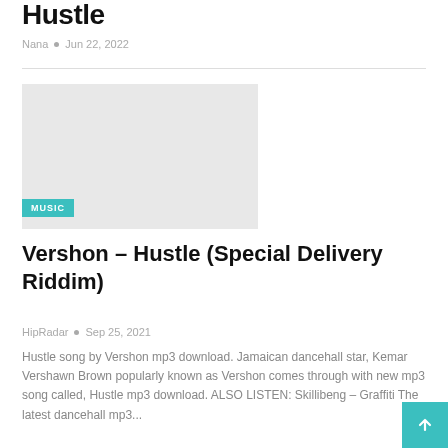Hustle
Nana • Jun 22, 2022
[Figure (other): Placeholder image with light grey background and a MUSIC badge overlay]
Vershon – Hustle (Special Delivery Riddim)
HipRadar • Sep 25, 2021
Hustle song by Vershon mp3 download. Jamaican dancehall star, Kemar Vershawn Brown popularly known as Vershon comes through with new mp3 song called, Hustle mp3 download. ALSO LISTEN: Skillibeng – Graffiti The latest dancehall mp3...